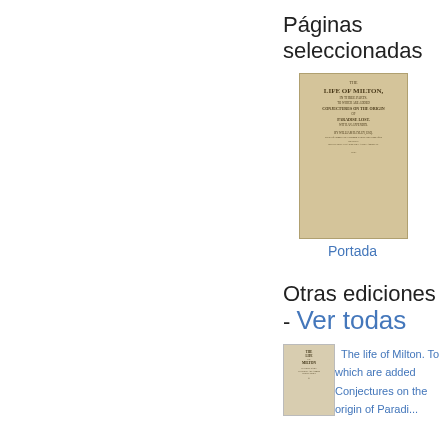Páginas seleccionadas
[Figure (photo): Book cover image of 'The Life of Milton' - old yellowed book cover with ornate text]
Portada
Otras ediciones - Ver todas
[Figure (photo): Small thumbnail of another edition of 'The Life of Milton']
The life of Milton. To which are added Conjectures on the origin of Paradise Lost